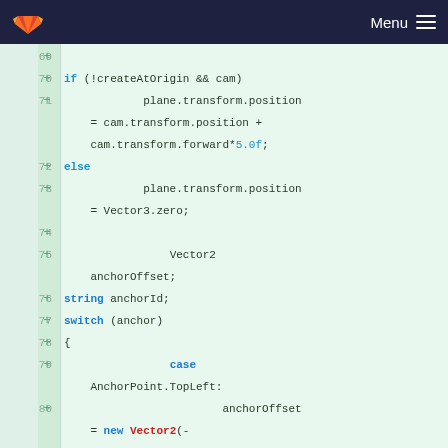GitLab - Menu
[Figure (screenshot): Code diff viewer showing lines 69-81 of a C# script with added lines (green +) including if/else block for plane.transform.position, Vector2 anchorOffset, string anchorId, switch(anchor) statement, case AnchorPoint.TopLeft with anchorOffset = new Vector2(-width/2.0f, length/2.0f), and anchorId =]